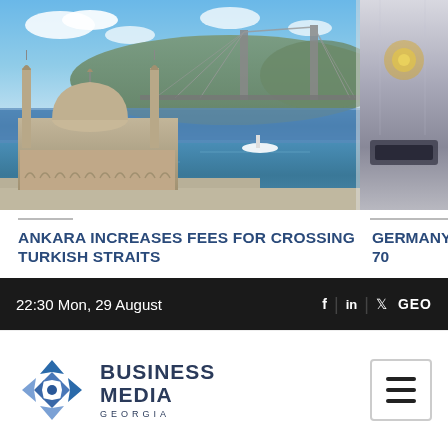[Figure (photo): Photo of the Ortakoy Mosque in Istanbul with the Bosphorus Bridge in the background over blue water]
[Figure (photo): Partial photo on the right side, appears to show an interior or decorative scene, partially cropped]
ANKARA INCREASES FEES FOR CROSSING TURKISH STRAITS
GERMANY... 70
29.Aug.2022 22:00  15
29.Aug.2022
22:30 Mon, 29 August  f  in  GEO
[Figure (logo): Business Media Georgia logo with diamond-shaped icon and text]